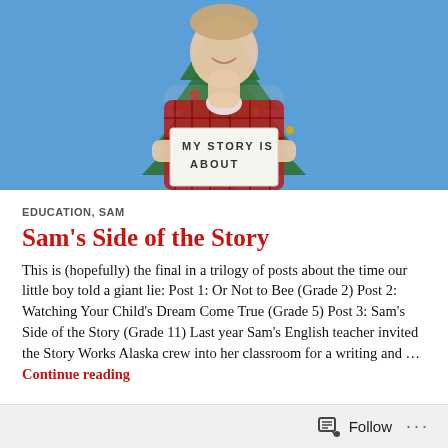[Figure (photo): A teenage boy wearing a red plaid shirt over a white t-shirt, smiling, standing in front of a Christmas tree with blue background, holding a piece of paper that reads 'MY STORY IS ABOUT']
EDUCATION, SAM
Sam's Side of the Story
This is (hopefully) the final in a trilogy of posts about the time our little boy told a giant lie: Post 1: Or Not to Bee (Grade 2) Post 2: Watching Your Child's Dream Come True (Grade 5) Post 3: Sam's Side of the Story (Grade 11) Last year Sam's English teacher invited the Story Works Alaska crew into her classroom for a writing and … Continue reading
Follow ...